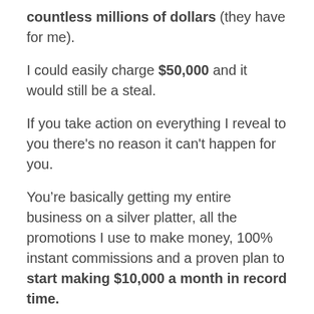countless millions of dollars (they have for me).
I could easily charge $50,000 and it would still be a steal.
If you take action on everything I reveal to you there's no reason it can't happen for you.
You’re basically getting my entire business on a silver platter, all the promotions I use to make money, 100% instant commissions and a proven plan to start making $10,000 a month in record time.